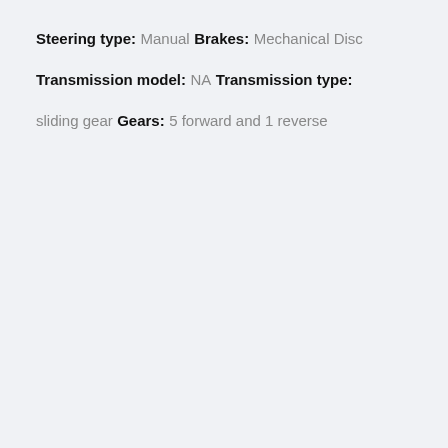Steering type:
Manual
Brakes:
Mechanical Disc
Transmission model:
NA
Transmission type:
sliding gear
Gears:
5 forward and 1 reverse